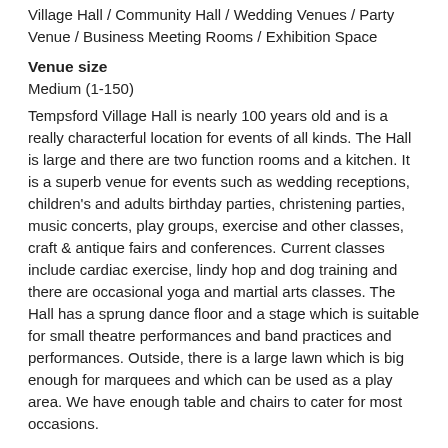Village Hall / Community Hall / Wedding Venues / Party Venue / Business Meeting Rooms / Exhibition Space
Venue size
Medium (1-150)
Tempsford Village Hall is nearly 100 years old and is a really characterful location for events of all kinds. The Hall is large and there are two function rooms and a kitchen. It is a superb venue for events such as wedding receptions, children's and adults birthday parties, christening parties, music concerts, play groups, exercise and other classes, craft & antique fairs and conferences. Current classes include cardiac exercise, lindy hop and dog training and there are occasional yoga and martial arts classes. The Hall has a sprung dance floor and a stage which is suitable for small theatre performances and band practices and performances. Outside, there is a large lawn which is big enough for marquees and which can be used as a play area. We have enough table and chairs to cater for most occasions.
In 'theatre' format the Hall can hold as many as 150 people and, for more formal occasions such as weddings can hold 80-100 people depending on layout.